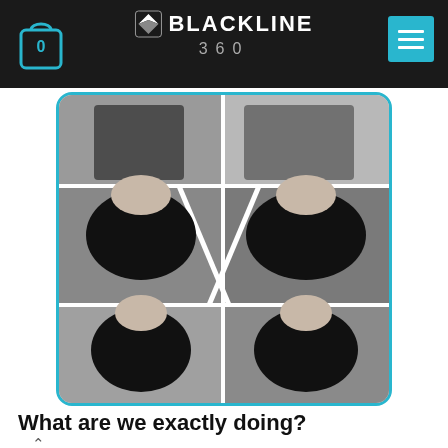BLACKLINE 360
[Figure (photo): Collage of men wearing various black shirts and tank tops — 6 panels arranged in a grid with diagonal white dividers, framed with a cyan/teal border. Top row shows two men, middle row shows a man in black v-neck tee and a man in black long-sleeve shirt, bottom row shows two men in black tank tops.]
What are we exactly doing?
Having you in our minds we have